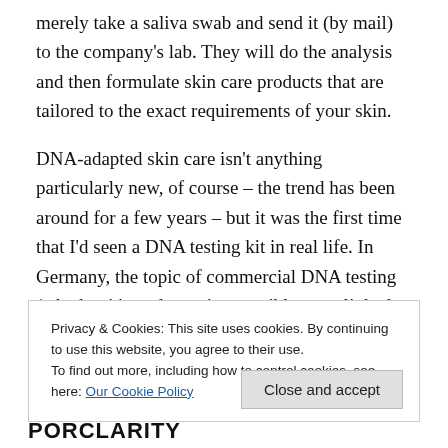merely take a saliva swab and send it (by mail) to the company's lab. They will do the analysis and then formulate skin care products that are tailored to the exact requirements of your skin.
DNA-adapted skin care isn't anything particularly new, of course – the trend has been around for a few years – but it was the first time that I'd seen a DNA testing kit in real life. In Germany, the topic of commercial DNA testing (whether it's to determine possible gene-linked diseases or health conditions, finding your precise genetic heritage or even –
Privacy & Cookies: This site uses cookies. By continuing to use this website, you agree to their use.
To find out more, including how to control cookies, see here: Our Cookie Policy
Close and accept
PORCLARITY